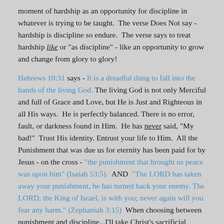moment of hardship as an opportunity for discipline in whatever is trying to be taught.  The verse Does Not say - hardship is discipline so endure.  The verse says to treat hardship like or "as discipline" - like an opportunity to grow and change from glory to glory!
Hebrews 10:31 says - It is a dreadful thing to fall into the hands of the living God. The living God is not only Merciful and full of Grace and Love, but He is Just and Righteous in all His ways.  He is perfectly balanced. There is no error, fault, or darkness found in Him.  He has never said, "My bad!"  Trust His identity. Entrust your life to Him.  All the Punishment that was due us for eternity has been paid for by Jesus - on the cross - "the punishment that brought us peace was upon him" (Isaiah 53:5).  AND  "The LORD has taken away your punishment, he has turned back your enemy. The LORD, the King of Israel, is with you; never again will you fear any harm." (Zephaniah 3:15)  When choosing between punishment and discipline...I'll take Christ's sacrificial punishment in my place and God's discipline throughout my life over doing this life on my own and in my own power and an eternal punishment for those who